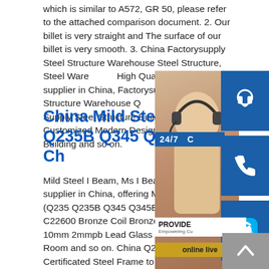which is similar to A572, GR 50, please refer to the attached comparison document. 2. Our billet is very straight and The surface of our billet is very smooth. 3. China Factorysupply Steel Structure Warehouse Steel Structure, Steel Warehouse High Quality manufacturer / supplier in China, Factorysupply Steel Structure Warehouse Q2... Cost Factory Supply Steel Structure Building Board Room, Customized Modern Design Pr... Structure Building and so on.
China Mild Steel I Beam Q235B Q345 Q345B) - Ch...
Mild Steel I Beam, Ms I Beam, Q345 I Beam ... supplier in China, offering Mild Steel I Beam (Q235 Q235B Q345 Q345B), 1/16 Hard C22600 Bronze Coil Bronze Strip, X Ray 10mm 2mmpb Lead Glass Window for CT Room and so on. China Q235B, Q345b BV Certificated Steel Frame to China Q235B, Q345b BV Certificated Steel Frame to Indonesia, Find details about China Steel Frame, Steel Structure from Q235B, Q345b BV Certificated Steel Frame to
[Figure (infographic): Customer service sidebar widget with a woman wearing a headset, blue icon panels showing headset/24-7, phone, and Skype icons, a PROVIDE banner, online live button, and scroll-to-top arrow button]